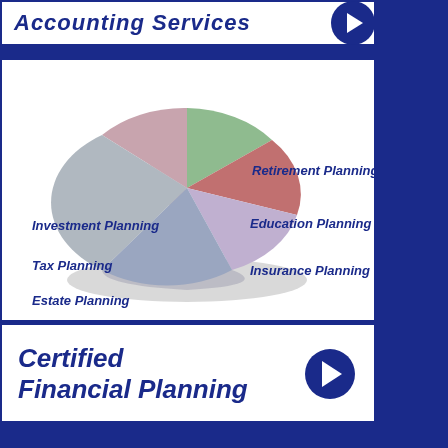Accounting Services
[Figure (pie-chart): Financial Planning Services]
Certified Financial Planning
[Figure (photo): Close-up of keyboard keys including Backspace, P, and a blue TAX key]